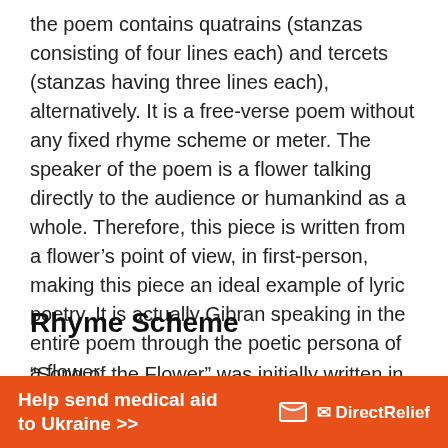the poem contains quatrains (stanzas consisting of four lines each) and tercets (stanzas having three lines each), alternatively. It is a free-verse poem without any fixed rhyme scheme or meter. The speaker of the poem is a flower talking directly to the audience or humankind as a whole. Therefore, this piece is written from a flower's point of view, in first-person, making this piece an ideal example of lyric poetry. It is actually Gibran speaking in the entire poem through the poetic persona of a flower.
Rhyme Scheme
“Song of the Flower” was initially written in Arabic. There could be a set rhyming pattern in the original
[Figure (other): Orange advertisement banner for Direct Relief: 'Help send medical aid to Ukraine >>' with Direct Relief logo (white envelope icon and brand name)]